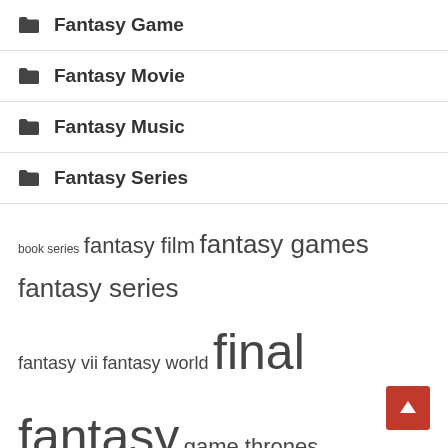Fantasy Game
Fantasy Movie
Fantasy Music
Fantasy Series
book series  fantasy film  fantasy games  fantasy series  fantasy vii  fantasy world  final fantasy  game thrones  lord rings  read author  sci fi  square enix  star wars  takes place  video games
Recent Posts
Every Mainline Final Fantasy Game, Ranked